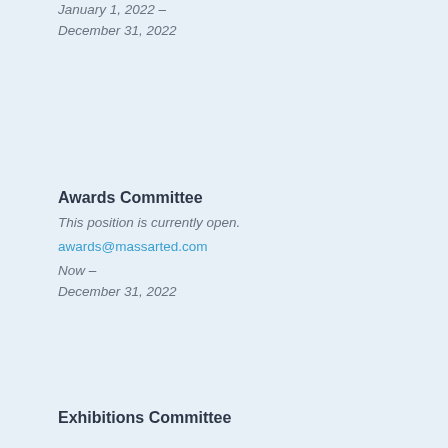January 1, 2022 –
December 31, 2022
Awards Committee
This position is currently open.
awards@massarted.com
Now –
December 31, 2022
Exhibitions Committee